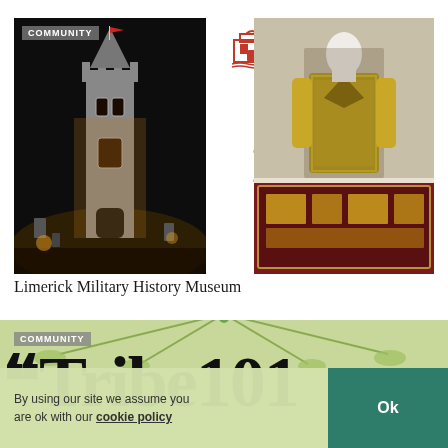[Figure (photo): Illuminated stone church tower at night with graveyard, 'COMMUNITY' badge overlay]
[Figure (logo): Limerick Civic Trust logo with red building icon and text 'LIMERICK CIVIC TRUST - CIVIC PRIDE IN ACTION']
[Figure (logo): Ireland 101 logo with green shamrock and stylized text]
[Figure (photo): Museum display showing gold military uniform on mannequin and display case with medals/documents]
Limerick Military History Museum
COMMUNITY
[Figure (logo): Tribe 101 large bold serif text logo on light green background]
By using our site we assume you are ok with our cookie policy